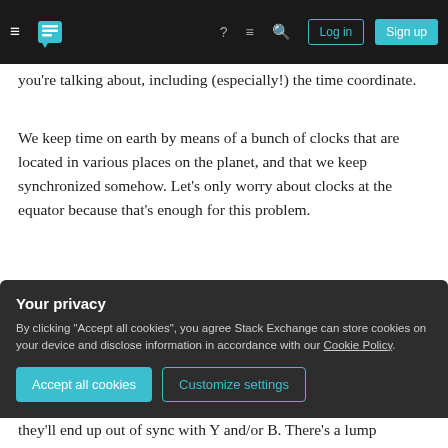Stack Exchange navigation bar with hamburger, logo, help, comments, search icons, Log in and Sign up buttons
you're talking about, including (especially!) the time coordinate.
We keep time on earth by means of a bunch of clocks that are located in various places on the planet, and that we keep synchronized somehow. Let's only worry about clocks at the equator because that's enough for this problem.
Take two adjacent clocks A and B and set them so that the light travel time from A to B and B to A is equal as measured by those clocks. This is called Einstein
Your privacy
By clicking "Accept all cookies", you agree Stack Exchange can store cookies on your device and disclose information in accordance with our Cookie Policy.
they'll end up out of sync with Y and/or B. There's a lump